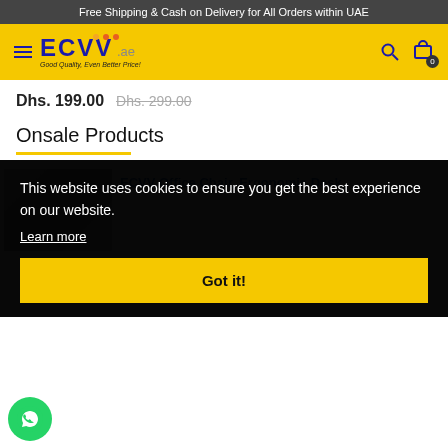Free Shipping & Cash on Delivery for All Orders within UAE
[Figure (logo): ECVV.ae logo with hamburger menu, search and cart icons on yellow header]
Dhs. 199.00  Dhs. 299.00
Onsale Products
ECVV Office Chair, Ergonomic Desk
This website uses cookies to ensure you get the best experience on our website. Learn more
Got it!